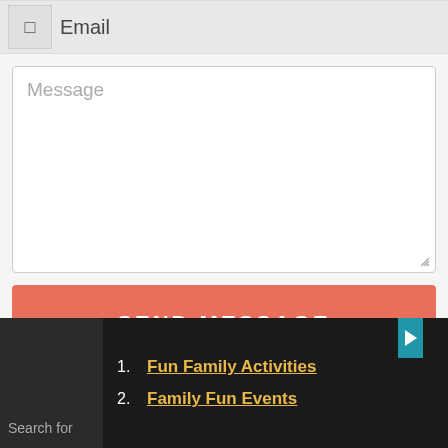Email
Message
SEND MESSAGE
Tube City Community Media Inc.
1. Fun Family Activities
2. Family Fun Events
Search for